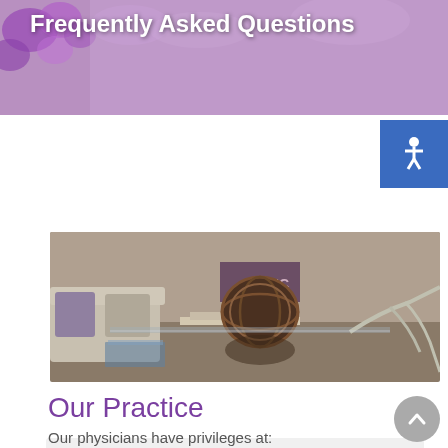Frequently Asked Questions
[Figure (photo): Interior photo of a medical practice waiting room with LPWC branded items, decorative wicker ball, grey sofas, and glass coffee table]
Our Practice
Which hospital(s) are you affiliated with?
Our physicians have privileges at: